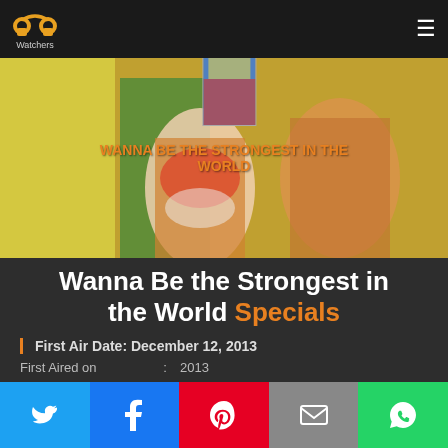Watchers
[Figure (illustration): Anime banner image for Wanna Be the Strongest in the World Specials with overlay text and thumbnail]
Wanna Be the Strongest in the World Specials
First Air Date: December 12, 2013
First Aired on : 2013
Episodes : 6 episodes